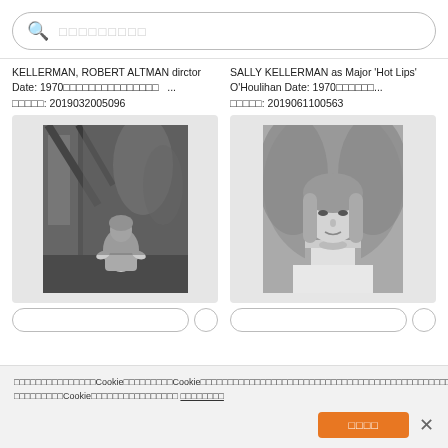[Figure (screenshot): Search bar with magnifying glass icon and placeholder text in Japanese]
KELLERMAN, ROBERT ALTMAN dirctor Date: 1970□□□□□□□□□□□□□□□ ...
□□□□□: 2019032005096
SALLY KELLERMAN as Major 'Hot Lips' O'Houlihan Date: 1970□□□□□□...
□□□□□: 2019061100563
[Figure (photo): Black and white photo of a person kneeling on a stage or set]
[Figure (photo): Black and white portrait photo of a woman with long hair looking at camera]
□□□□□□□□□□□□□□□Cookie□□□□□□□□□Cookie□□□□□□□□□□□□□□□□□□□□□□□□□□□□□□□□□□□□□□□□□□□□□Cookie□□□□□□□□□□□□□□□□ □□□□□□□□
□□□□